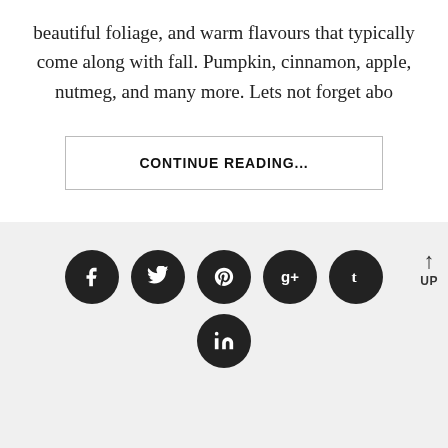beautiful foliage, and warm flavours that typically come along with fall. Pumpkin, cinnamon, apple, nutmeg, and many more. Lets not forget abo
CONTINUE READING...
[Figure (other): Social media sharing icons row: Facebook, Twitter, Pinterest, Google+, Tumblr (top row), LinkedIn (bottom row). All dark circular buttons with white icons. UP arrow button at right.]